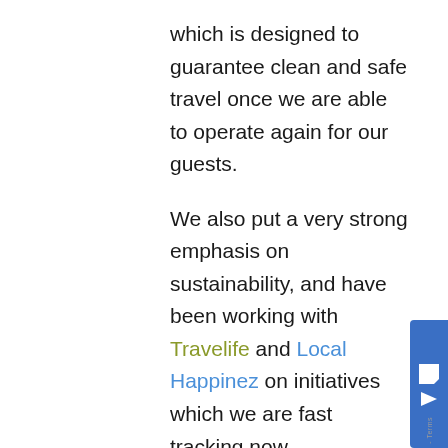which is designed to guarantee clean and safe travel once we are able to operate again for our guests.
We also put a very strong emphasis on sustainability, and have been working with Travelife and Local Happinez on initiatives which we are fast tracking now.
A year after taking these steps, we are disappointed that most international borders remain closed, but we're optimistic that soon we will be able to welcome guests back to the